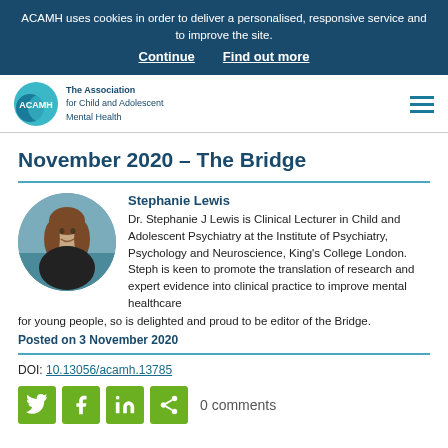ACAMH uses cookies in order to deliver a personalised, responsive service and to improve the site.
Continue  Find out more
[Figure (logo): ACAMH logo - circular teal logo with ACAMH text, beside text reading The Association for Child and Adolescent Mental Health]
November 2020 – The Bridge
Stephanie Lewis
Dr. Stephanie J Lewis is Clinical Lecturer in Child and Adolescent Psychiatry at the Institute of Psychiatry, Psychology and Neuroscience, King's College London. Steph is keen to promote the translation of research and expert evidence into clinical practice to improve mental healthcare for young people, so is delighted and proud to be editor of the Bridge.
Posted on 3 November 2020
DOI: 10.13056/acamh.13785
0 comments